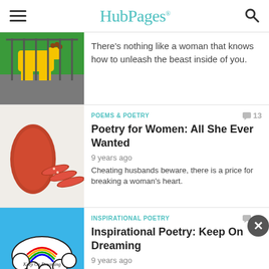HubPages
There's nothing like a woman that knows how to unleash the beast inside of you.
[Figure (photo): Sliced bologna/sausage on white background]
POEMS & POETRY  13
Poetry for Women: All She Ever Wanted
9 years ago
Cheating husbands beware, there is a price for breaking a woman's heart.
[Figure (illustration): Blue background with thought cloud containing rainbow and text 'Keep On Dreaming']
INSPIRATIONAL POETRY  20
Inspirational Poetry: Keep On Dreaming
9 years ago